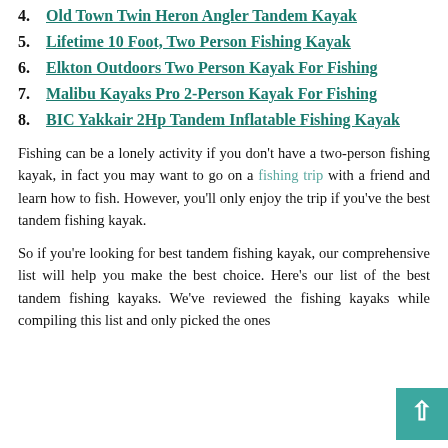4. Old Town Twin Heron Angler Tandem Kayak
5. Lifetime 10 Foot, Two Person Fishing Kayak
6. Elkton Outdoors Two Person Kayak For Fishing
7. Malibu Kayaks Pro 2-Person Kayak For Fishing
8. BIC Yakkair 2Hp Tandem Inflatable Fishing Kayak
Fishing can be a lonely activity if you don’t have a two-person fishing kayak, in fact you may want to go on a fishing trip with a friend and learn how to fish. However, you’ll only enjoy the trip if you’ve the best tandem fishing kayak.
So if you’re looking for best tandem fishing kayak, our comprehensive list will help you make the best choice. Here’s our list of the best tandem fishing kayaks. We’ve reviewed the fishing kayaks while compiling this list and only picked the ones